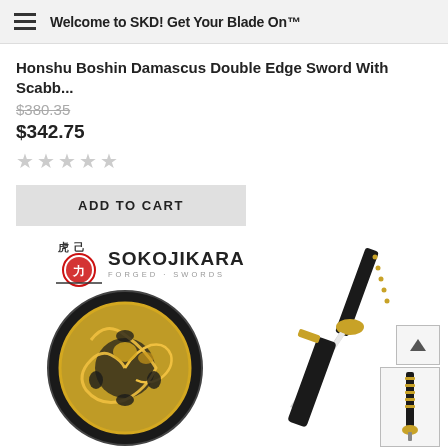Welcome to SKD! Get Your Blade On™
Honshu Boshin Damascus Double Edge Sword With Scabb...
$380.35
$342.75
★★★★★
ADD TO CART
[Figure (logo): Sokojikara Forged Swords logo with Japanese characters and red circular emblem]
[Figure (photo): Close-up of a golden dragon tsuba (sword guard) with intricate filigree design on black background]
[Figure (photo): Honshu Boshin Damascus Double Edge Sword with black scabbard and gold fittings, partially drawn]
[Figure (photo): Small thumbnail image of the sword handle/grip in black]